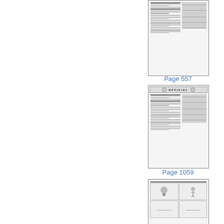[Figure (screenshot): Thumbnail image of a document page - American Federationist publication, cropped at top, showing columns of text]
Page 557
[Figure (screenshot): Thumbnail image of a document page with OFFICIAL header banner flanked by two circular seals, and two-column text layout below]
Page 1059
[Figure (screenshot): Thumbnail image of a document page showing American Federationist with advertisements including figures and text blocks]